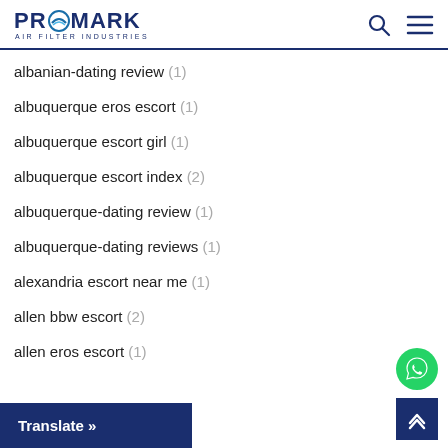PROMARK AIR FILTER INDUSTRIES
albanian-dating review (1)
albuquerque eros escort (1)
albuquerque escort girl (1)
albuquerque escort index (2)
albuquerque-dating review (1)
albuquerque-dating reviews (1)
alexandria escort near me (1)
allen bbw escort (2)
allen eros escort (1)
Translate »